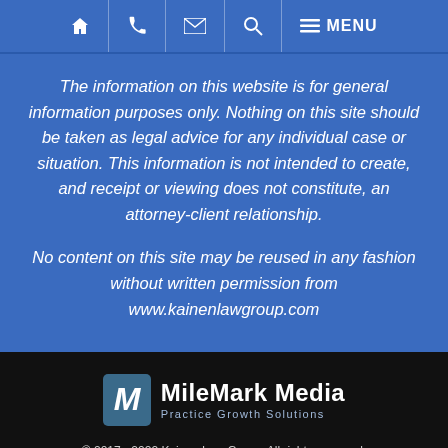Navigation bar with home, phone, email, search, and MENU icons
The information on this website is for general information purposes only. Nothing on this site should be taken as legal advice for any individual case or situation. This information is not intended to create, and receipt or viewing does not constitute, an attorney-client relationship.
No content on this site may be reused in any fashion without written permission from www.kainenlawgroup.com
[Figure (logo): MileMark Media - Practice Growth Solutions logo]
© 2017 - 2022 Kainen Law Group. All rights reserved. This law firm website and legal marketing is managed by MileMark Media.
SITE MAP  /  DISCLAIMER